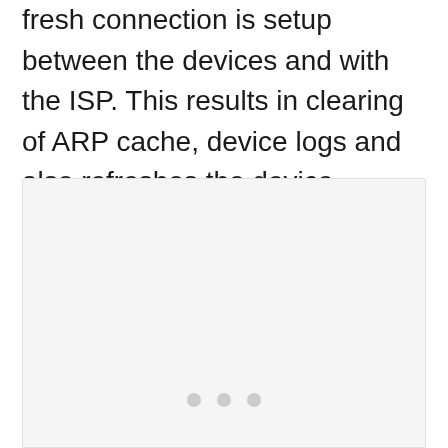fresh connection is setup between the devices and with the ISP. This results in clearing of ARP cache, device logs and also refreshes the device, eliminating any connection lags and issues created.
[Figure (screenshot): A light gray image placeholder box with three gray dots at the bottom center, indicating a carousel or slideshow element.]